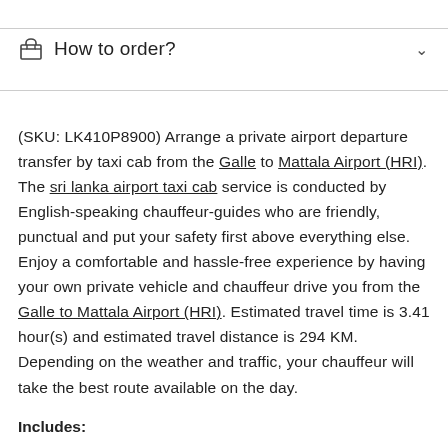How to order?
(SKU: LK410P8900) Arrange a private airport departure transfer by taxi cab from the Galle to Mattala Airport (HRI). The sri lanka airport taxi cab service is conducted by English-speaking chauffeur-guides who are friendly, punctual and put your safety first above everything else. Enjoy a comfortable and hassle-free experience by having your own private vehicle and chauffeur drive you from the Galle to Mattala Airport (HRI). Estimated travel time is 3.41 hour(s) and estimated travel distance is 294 KM. Depending on the weather and traffic, your chauffeur will take the best route available on the day.
Includes: